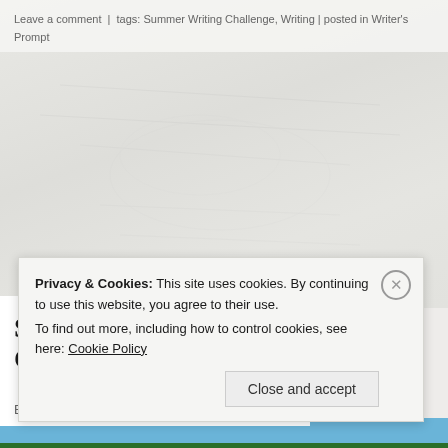Leave a comment  |  tags: Summer Writing Challenge, Writing | posted in Writer's Prompt
[Figure (photo): Decorative textured background image with muted gray-green tones]
Summer Writing Challenge: Day 27
By ritalovestowrite
July 2
[Figure (photo): Beach ocean waves with blue sky, white foam on sandy shore]
Privacy & Cookies: This site uses cookies. By continuing to use this website, you agree to their use.
To find out more, including how to control cookies, see here: Cookie Policy
Close and accept